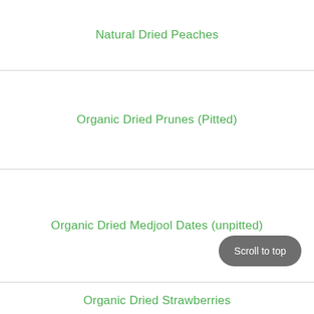Natural Dried Peaches
Organic Dried Prunes (Pitted)
Organic Dried Medjool Dates (unpitted)
Organic Dried Strawberries